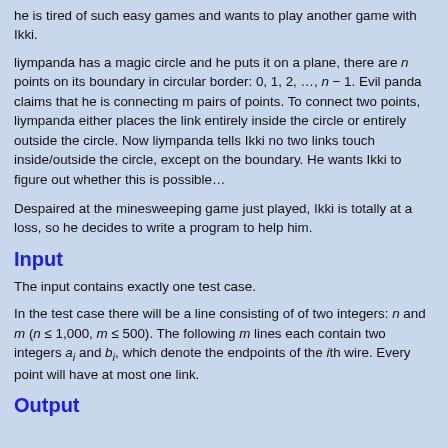he is tired of such easy games and wants to play another game with Ikki.
liympanda has a magic circle and he puts it on a plane, there are n points on its boundary in circular border: 0, 1, 2, …, n − 1. Evil panda claims that he is connecting m pairs of points. To connect two points, liympanda either places the link entirely inside the circle or entirely outside the circle. Now liympanda tells Ikki no two links touch inside/outside the circle, except on the boundary. He wants Ikki to figure out whether this is possible…
Despaired at the minesweeping game just played, Ikki is totally at a loss, so he decides to write a program to help him.
Input
The input contains exactly one test case.
In the test case there will be a line consisting of of two integers: n and m (n ≤ 1,000, m ≤ 500). The following m lines each contain two integers a_i and b_i, which denote the endpoints of the ith wire. Every point will have at most one link.
Output